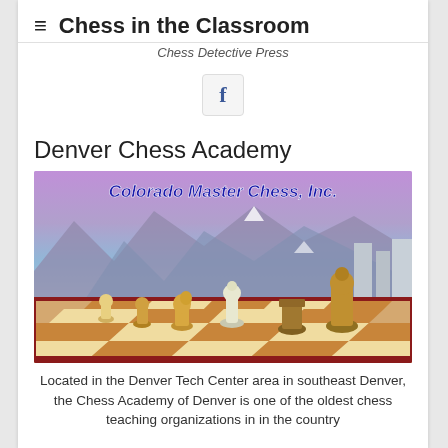Chess in the Classroom
Chess Detective Press
[Figure (logo): Facebook logo icon in a rounded square button]
Denver Chess Academy
[Figure (photo): Colorado Master Chess, Inc. promotional image showing 3D rendered chess pieces on a chessboard with mountains and Denver skyline in the background]
Located in the Denver Tech Center area in southeast Denver, the Chess Academy of Denver is one of the oldest chess teaching organizations in in the country